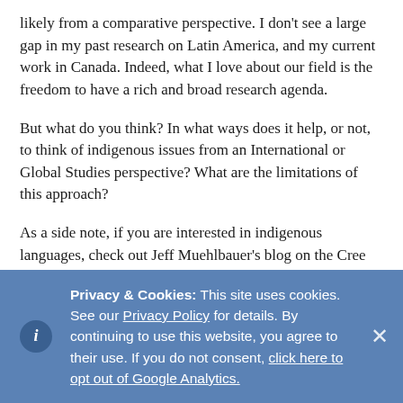likely from a comparative perspective. I don't see a large gap in my past research on Latin America, and my current work in Canada. Indeed, what I love about our field is the freedom to have a rich and broad research agenda.
But what do you think? In what ways does it help, or not, to think of indigenous issues from an International or Global Studies perspective? What are the limitations of this approach?
As a side note, if you are interested in indigenous languages, check out Jeff Muehlbauer's blog on the Cree language, which also has a lot of great links: http://moniyawlinguist.wordpress.com/
Privacy & Cookies: This site uses cookies. See our Privacy Policy for details. By continuing to use this website, you agree to their use. If you do not consent, click here to opt out of Google Analytics.